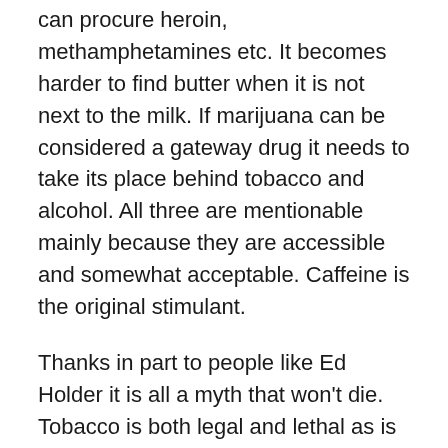can procure heroin, methamphetamines etc. It becomes harder to find butter when it is not next to the milk. If marijuana can be considered a gateway drug it needs to take its place behind tobacco and alcohol. All three are mentionable mainly because they are accessible and somewhat acceptable. Caffeine is the original stimulant.
Thanks in part to people like Ed Holder it is all a myth that won't die. Tobacco is both legal and lethal as is alcohol yet marijuana with few if any deaths directly attributable remains an enemy of the state. We have prescription drugs such as Percocet and Oxycontin which ravage lives but for some reason Doritos eaters are demons. For youth the entire message becomes nonsense.
I think the largest failing in the war on drugs has been the inadequate application of services that do fight drug use…